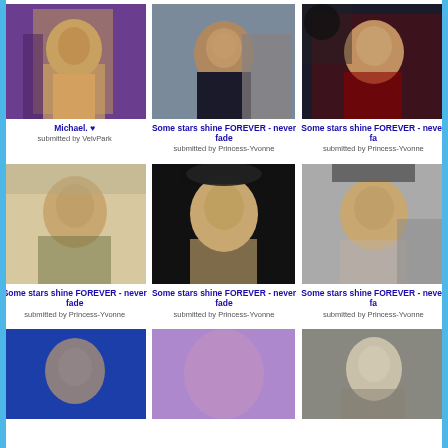[Figure (photo): Michael Jackson performing on stage in white/gold outfit against purple background]
Michael. ♥
submitted by VelvPark
[Figure (photo): Michael Jackson smiling in a crowd, wearing suit]
Some stars shine FOREVER - never fade
submitted by Princess-Yvonne
[Figure (photo): Michael Jackson wearing sunglasses and red military style jacket]
Some stars shine FOREVER - never fade
submitted by Princess-Yvonne
[Figure (photo): Young Michael Jackson portrait with dark hair]
Some stars shine FOREVER - never fade
submitted by Princess-Yvonne
[Figure (photo): Michael Jackson closeup with black hat and dramatic lighting]
Some stars shine FOREVER - never fade
submitted by Princess-Yvonne
[Figure (photo): Michael Jackson wearing black hat waving]
Some stars shine FOREVER - never fade
submitted by Princess-Yvonne
[Figure (photo): Michael Jackson performing on stage with blue lighting]
[Figure (photo): Abstract blurred purple/blue image]
[Figure (photo): Michael Jackson on stage in grey/white jacket with sunglasses]